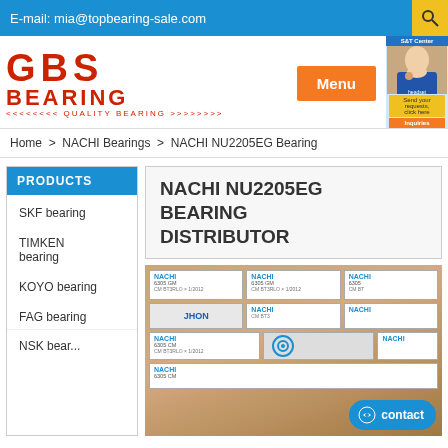E-mail: mia@topbearing-sale.com
[Figure (logo): GBS Bearing logo in red with text QUALITY BEARING]
Menu
Home > NACHI Bearings > NACHI NU2205EG Bearing
PRODUCTS
SKF bearing
TIMKEN bearing
KOYO bearing
FAG bearing
NACHI NU2205EG BEARING DISTRIBUTOR
[Figure (photo): Photo of NACHI bearing product boxes stacked together]